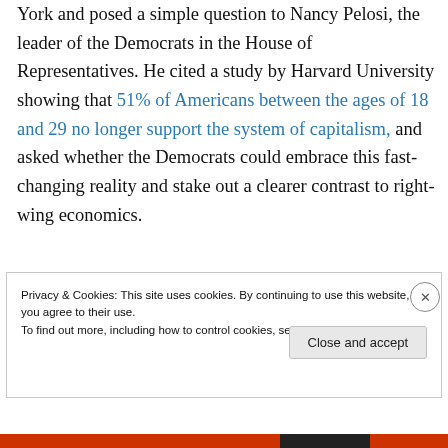York and posed a simple question to Nancy Pelosi, the leader of the Democrats in the House of Representatives. He cited a study by Harvard University showing that 51% of Americans between the ages of 18 and 29 no longer support the system of capitalism, and asked whether the Democrats could embrace this fast-changing reality and stake out a clearer contrast to right-wing economics.
Privacy & Cookies: This site uses cookies. By continuing to use this website, you agree to their use. To find out more, including how to control cookies, see here: Cookie Policy